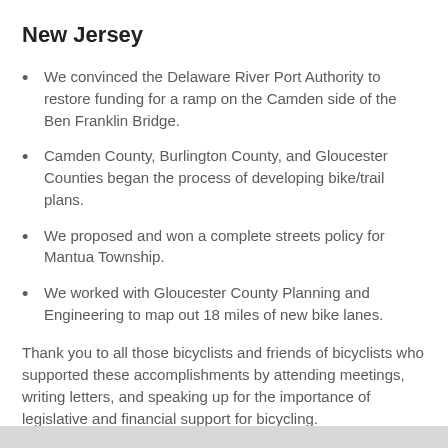New Jersey
We convinced the Delaware River Port Authority to restore funding for a ramp on the Camden side of the Ben Franklin Bridge.
Camden County, Burlington County, and Gloucester Counties began the process of developing bike/trail plans.
We proposed and won a complete streets policy for Mantua Township.
We worked with Gloucester County Planning and Engineering to map out 18 miles of new bike lanes.
Thank you to all those bicyclists and friends of bicyclists who supported these accomplishments by attending meetings, writing letters, and speaking up for the importance of legislative and financial support for bicycling.